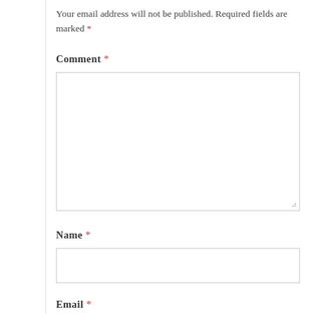Your email address will not be published. Required fields are marked *
Comment *
[Comment text area]
Name *
[Name input field]
Email *